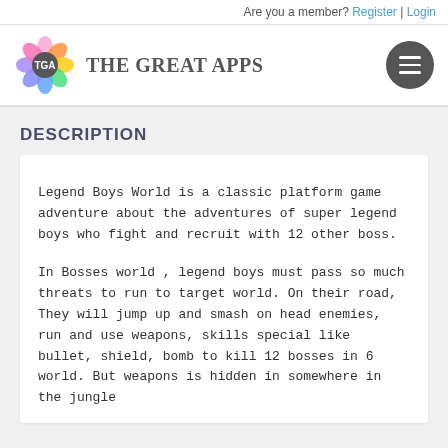Are you a member? Register | Login
[Figure (logo): The Great Apps logo with colorful flower and TGA emblem]
DESCRIPTION
Legend Boys World is a classic platform game adventure about the adventures of super legend boys who fight and recruit with 12 other boss.
In Bosses world , legend boys must pass so much threats to run to target world. On their road, They will jump up and smash on head enemies, run and use weapons, skills special like bullet, shield, bomb to kill 12 bosses in 6 world. But weapons is hidden in somewhere in the jungle